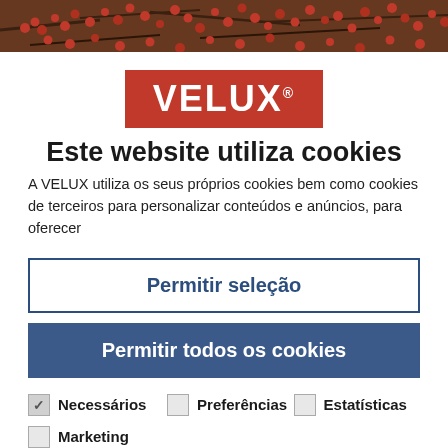[Figure (photo): Photo strip of red berries on branches, dark background]
[Figure (logo): VELUX logo — white text on red background]
Este website utiliza cookies
A VELUX utiliza os seus próprios cookies bem como cookies de terceiros para personalizar conteúdos e anúncios, para oferecer
Permitir seleção
Permitir todos os cookies
Necessários
Preferências
Estatísticas
Marketing
Mostrar detalhes